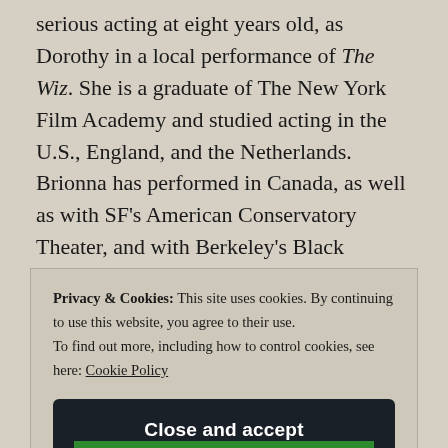serious acting at eight years old, as Dorothy in a local performance of The Wiz. She is a graduate of The New York Film Academy and studied acting in the U.S., England, and the Netherlands. Brionna has performed in Canada, as well as with SF's American Conservatory Theater, and with Berkeley's Black Repertory Theater. She is a choir singer, and is happy to return to the stage.
Privacy & Cookies: This site uses cookies. By continuing to use this website, you agree to their use. To find out more, including how to control cookies, see here: Cookie Policy
Close and accept